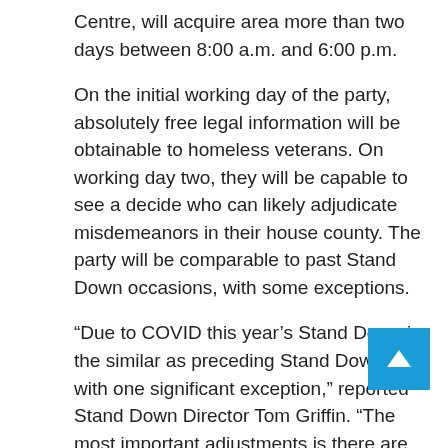Centre, will acquire area more than two days between 8:00 a.m. and 6:00 p.m.
On the initial working day of the party, absolutely free legal information will be obtainable to homeless veterans. On working day two, they will be capable to see a decide who can likely adjudicate misdemeanors in their house county. The party will be comparable to past Stand Down occasions, with some exceptions.
“Due to COVID this year’s Stand Down is the similar as preceding Stand Downs but with one significant exception,” reported Stand Down Director Tom Griffin. “The most important adjustments is there are no overnights.”
KRON On is streaming